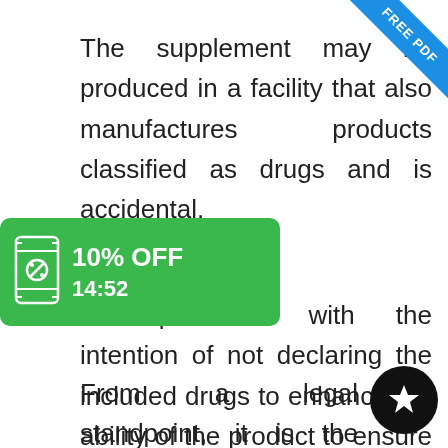The supplement may be produced in a facility that also manufactures products classified as drugs and is accidental.
[Figure (infographic): Green coupon badge showing '10% OFF' and countdown timer '14:52' with a receipt/ticket icon]
are produced with the intention of not declaring the included drugs to enhance the ability of the product to ensure repeat sales.
From a legal standpoint, it is the manufacturers' or the distributor's
[Figure (infographic): Black circular badge with white star icon (Micro.blog or rating indicator)]
[Figure (infographic): Blue diagonal corner banner reading 'FREE PDF']